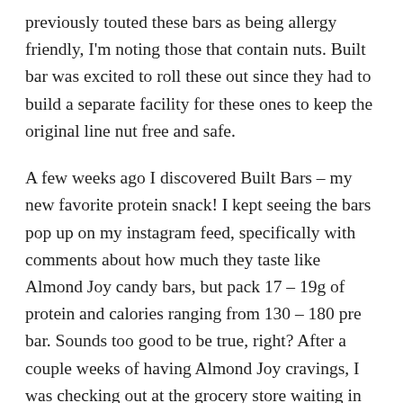previously touted these bars as being allergy friendly, I'm noting those that contain nuts. Built bar was excited to roll these out since they had to build a separate facility for these ones to keep the original line nut free and safe.
A few weeks ago I discovered Built Bars – my new favorite protein snack! I kept seeing the bars pop up on my instagram feed, specifically with comments about how much they taste like Almond Joy candy bars, but pack 17 – 19g of protein and calories ranging from 130 – 180 pre bar. Sounds too good to be true, right? After a couple weeks of having Almond Joy cravings, I was checking out at the grocery store waiting in line when I spotted Almond Joy bars and I started salivating. I'm